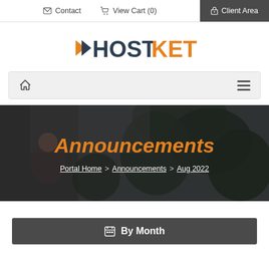Contact | View Cart (0) | Client Area
[Figure (logo): HOSTKET logo with orange arrow and dark blue/orange text]
[Figure (other): Navigation bar with home icon and hamburger menu]
[Figure (photo): Hero banner with dark overlay showing office/plant background with Announcements title and breadcrumb navigation]
Announcements
Portal Home > Announcements > Aug 2022
By Month